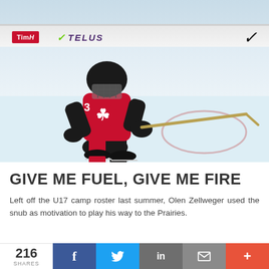[Figure (photo): Hockey player wearing number 3 in a red and black Team Canada jersey skating on ice, in a crouched position holding a hockey stick. Arena boards visible in background with Tim Hortons, TELUS, and Nike logos.]
GIVE ME FUEL, GIVE ME FIRE
Left off the U17 camp roster last summer, Olen Zellweger used the snub as motivation to play his way to the Prairies.
[Figure (photo): Partial view of a second hockey photo at the bottom of the page, partially cut off.]
216 SHARES